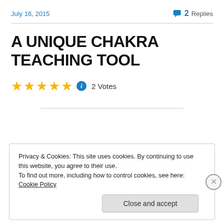July 16, 2015
2 Replies
A UNIQUE CHAKRA TEACHING TOOL
2 Votes
Privacy & Cookies: This site uses cookies. By continuing to use this website, you agree to their use.
To find out more, including how to control cookies, see here: Cookie Policy
Close and accept